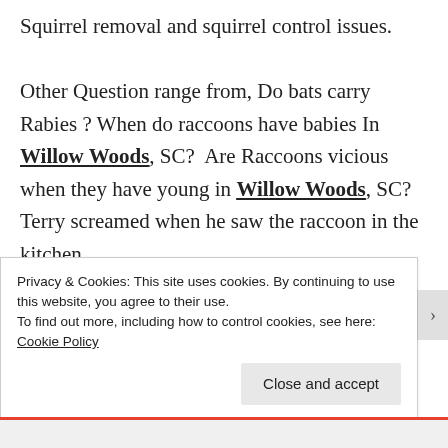Squirrel removal and squirrel control issues.

Other Question range from, Do bats carry Rabies ? When do raccoons have babies In Willow Woods, SC?  Are Raccoons vicious when they have young in Willow Woods, SC? Terry screamed when he saw the raccoon in the kitchen
Privacy & Cookies: This site uses cookies. By continuing to use this website, you agree to their use.
To find out more, including how to control cookies, see here: Cookie Policy
Close and accept